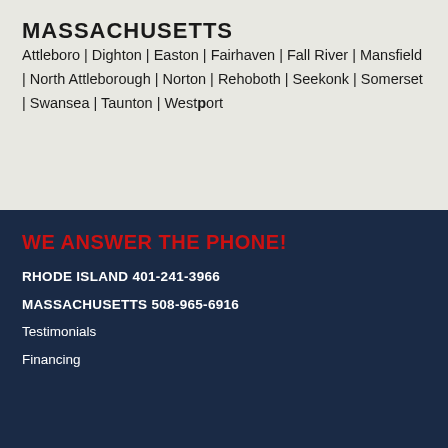MASSACHUSETTS
Attleboro | Dighton | Easton | Fairhaven | Fall River | Mansfield | North Attleborough | Norton | Rehoboth | Seekonk | Somerset | Swansea | Taunton | Westport
WE ANSWER THE PHONE!
RHODE ISLAND 401-241-3966
MASSACHUSETTS 508-965-6916
Testimonials
Financing